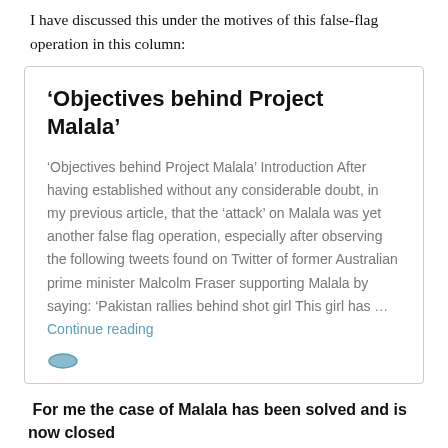I have discussed this under the motives of this false-flag operation in this column:
‘Objectives behind Project Malala’
‘Objectives behind Project Malala’ Introduction After having established without any considerable doubt, in my previous article, that the ‘attack’ on Malala was yet another false flag operation, especially after observing the following tweets found on Twitter of former Australian prime minister Malcolm Fraser supporting Malala by saying: ‘Pakistan rallies behind shot girl This girl has … Continue reading
For me the case of Malala has been solved and is now closed
Note: Any facial changes/distortions afterwards may have